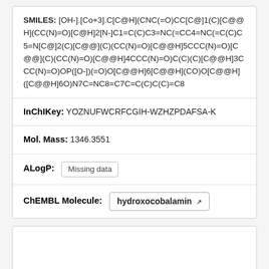SMILES: [OH-].[Co+3].C[C@H](CNC(=O)CC[C@]1(C)[C@@H](CC(N)=O)[C@H]2[N-]C1=C(C)C3=NC(=CC4=NC(=C(C)C5=N[C@]2(C)[C@@](C)(CC(N)=O)[C@@H]5CCC(N)=O)[C@@](C)(CC(N)=O)[C@@H]4CCC(N)=O)C(C)(C)[C@@H]3CCC(N)=O)OP([O-])(=O)O[C@@H]6[C@@H](CO)O[C@@H]([C@@H]6O)N7C=NC8=C7C=C(C)C(C)=C8
InChIKey: YOZNUFWCRFCGIH-WZHZPDAFSA-K
Mol. Mass: 1346.3551
ALogP: Missing data
ChEMBL Molecule: hydroxocobalamin